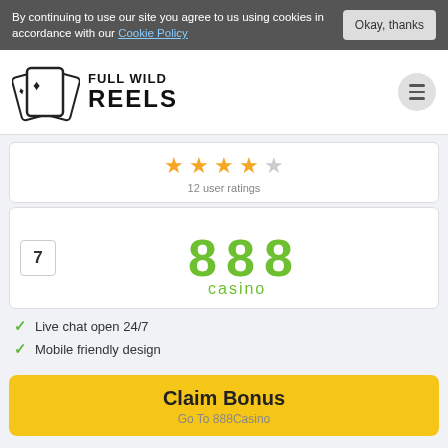By continuing to use our site you agree to us using cookies in accordance with our Cookie Policy
[Figure (logo): Full Wild Reels logo with playing cards icon and bold text]
[Figure (other): 4.5 out of 5 stars rating — 12 user ratings]
12 user ratings
[Figure (logo): 888 casino green logo]
Live chat open 24/7
Mobile friendly design
Claim Bonus
Go To 888Casino